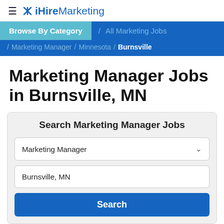≡ ✕ iHire Marketing
[Figure (screenshot): iHire Marketing logo with hamburger menu icon and stylized X icon]
Browse By Category / All Marketing Jobs / Marketing Manager / Minnesota / Burnsville
Marketing Manager Jobs in Burnsville, MN
Search Marketing Manager Jobs
Marketing Manager (dropdown)
Burnsville, MN (location input)
Search (button)